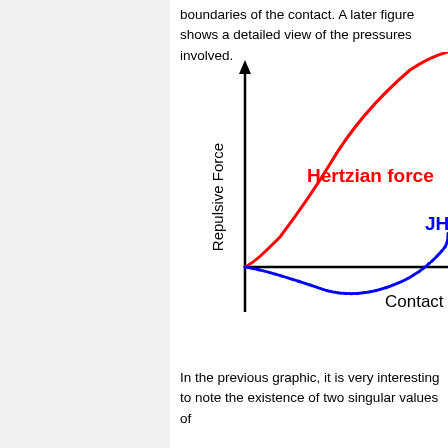boundaries of the contact. A later figure shows a detailed view of the pressures involved.
[Figure (continuous-plot): A graph showing Repulsive Force (y-axis) vs Contact (x-axis, partially visible). Two curves are shown: a red curve labeled 'Hertzian force' that rises steeply from the origin going up-left, and a blue curve labeled 'JH...' (partially cut off) that dips below the x-axis forming a valley before rising steeply at the right edge. The y-axis has a vertical arrow pointing up labeled 'Repulsive Force'. The x-axis is horizontal.]
In the previous graphic, it is very interesting to note the existence of two singular values of